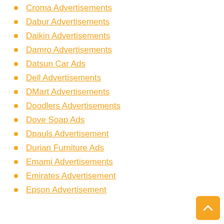Croma Advertisements
Dabur Advertisements
Daikin Advertisements
Damro Advertisements
Datsun Car Ads
Dell Advertisements
DMart Advertisements
Doodlers Advertisements
Dove Soap Ads
Dpauls Advertisement
Durian Furniture Ads
Emami Advertisements
Emirates Advertisement
Epson Advertisement